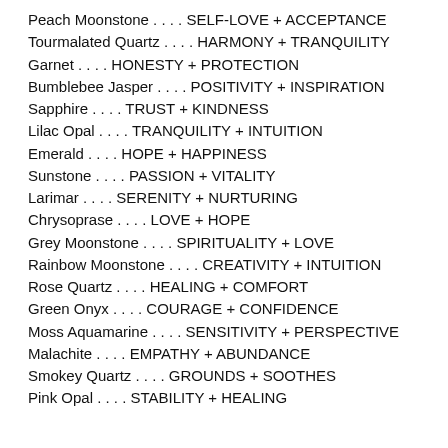Peach Moonstone . . . . SELF-LOVE + ACCEPTANCE
Tourmalated Quartz . . . . HARMONY + TRANQUILITY
Garnet . . . . HONESTY + PROTECTION
Bumblebee Jasper . . . . POSITIVITY + INSPIRATION
Sapphire . . . . TRUST + KINDNESS
Lilac Opal . . . . TRANQUILITY + INTUITION
Emerald . . . . HOPE + HAPPINESS
Sunstone . . . . PASSION + VITALITY
Larimar . . . . SERENITY + NURTURING
Chrysoprase . . . . LOVE + HOPE
Grey Moonstone . . . . SPIRITUALITY + LOVE
Rainbow Moonstone . . . . CREATIVITY + INTUITION
Rose Quartz . . . . HEALING + COMFORT
Green Onyx . . . . COURAGE + CONFIDENCE
Moss Aquamarine . . . . SENSITIVITY + PERSPECTIVE
Malachite . . . . EMPATHY + ABUNDANCE
Smokey Quartz . . . . GROUNDS + SOOTHES
Pink Opal . . . . STABILITY + HEALING